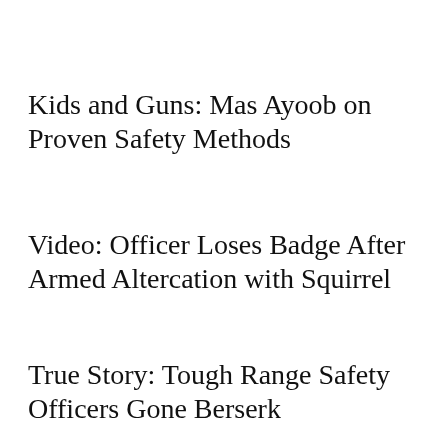Kids and Guns: Mas Ayoob on Proven Safety Methods
Video: Officer Loses Badge After Armed Altercation with Squirrel
True Story: Tough Range Safety Officers Gone Berserk